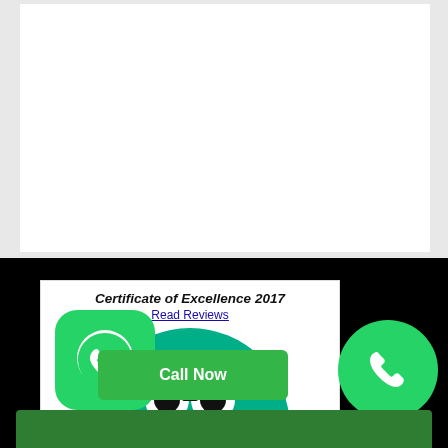[Figure (other): White rectangular panel in the upper portion of the page against a light gray background]
[Figure (logo): TripAdvisor Certificate of Excellence 2017 badge with owl logo on green semicircle and 'Read Reviews' link]
[Figure (logo): TripAdvisor 2020 Travelers' Choice badge with owl logo surrounded by laurel wreath]
[Figure (logo): WhatsApp green button icon at bottom left]
[Figure (other): Green 'Call Now' button at bottom center]
[Figure (logo): Green phone circle button at bottom right]
[Figure (other): Dark green bar at very bottom of page]